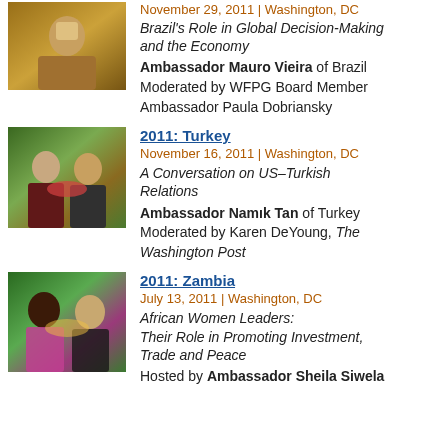[Figure (photo): Man speaking at a microphone at a formal event]
November 29, 2011 | Washington, DC
Brazil's Role in Global Decision-Making and the Economy
Ambassador Mauro Vieira of Brazil
Moderated by WFPG Board Member Ambassador Paula Dobriansky
[Figure (photo): Two people seated at a table at an event, with a floral arrangement]
2011: Turkey
November 16, 2011 | Washington, DC
A Conversation on US–Turkish Relations
Ambassador Namık Tan of Turkey
Moderated by Karen DeYoung, The Washington Post
[Figure (photo): Group of women smiling at an event]
2011: Zambia
July 13, 2011 | Washington, DC
African Women Leaders: Their Role in Promoting Investment, Trade and Peace
Hosted by Ambassador Sheila Siwela